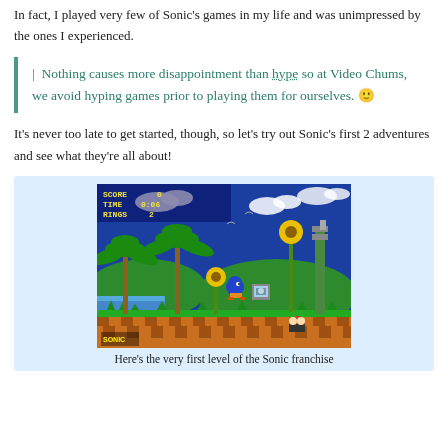In fact, I played very few of Sonic's games in my life and was unimpressed by the ones I experienced.
Nothing causes more disappointment than hype so at Video Chums, we avoid hyping games prior to playing them for ourselves. 🙂
It's never too late to get started, though, so let's try out Sonic's first 2 adventures and see what they're all about!
[Figure (screenshot): Screenshot of Sonic the Hedgehog game showing Green Hill Zone, first level. HUD shows SCORE 0, TIME 0:06, RINGS 2. Sonic character visible in the middle of the level with palm trees, sunflowers, checkered blocks and a monitor item.]
Here's the very first level of the Sonic franchise